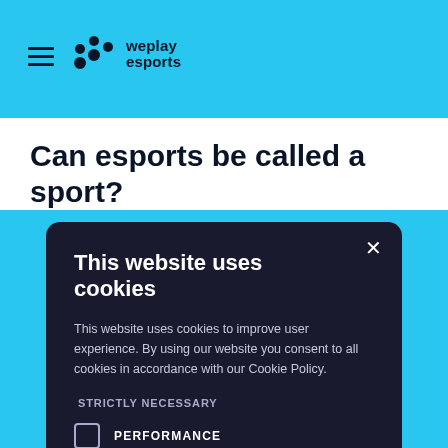weplay esports
Can esports be called a sport?
This website uses cookies
This website uses cookies to improve user experience. By using our website you consent to all cookies in accordance with our Cookie Policy.
STRICTLY NECESSARY
PERFORMANCE
TARGETING
ACCEPT ALL
DECLINE ALL
SHOW DETAILS